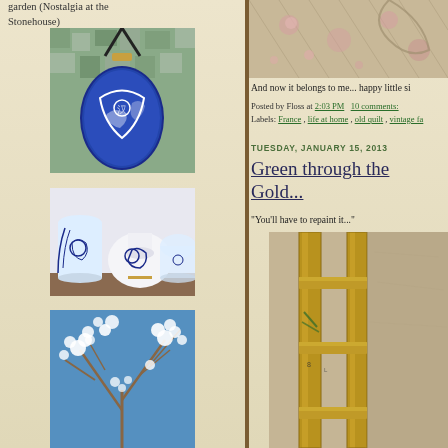garden (Nostalgia at the Stonehouse)
[Figure (photo): Blue and white oval ceramic/mosaic pendant on black cord against mosaic background]
[Figure (photo): Blue and white ceramic vases and jars on a wooden surface]
[Figure (photo): White fluffy flowering branches against blue sky]
[Figure (photo): Vintage quilt with floral pattern in pink and white]
And now it belongs to me... happy little si
Posted by Floss at 2:03 PM   10 comments:
Labels: France , life at home , old quilt , vintage fa
TUESDAY, JANUARY 15, 2013
Green through the Gold...
"You'll have to repaint it..."
[Figure (photo): Wooden ladder or frame with gold/brown paint, close-up detail on textured wall]